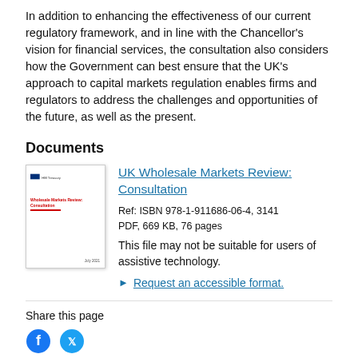In addition to enhancing the effectiveness of our current regulatory framework, and in line with the Chancellor's vision for financial services, the consultation also considers how the Government can best ensure that the UK's approach to capital markets regulation enables firms and regulators to address the challenges and opportunities of the future, as well as the present.
Documents
[Figure (other): Thumbnail image of the UK Wholesale Markets Review: Consultation document cover page]
UK Wholesale Markets Review: Consultation
Ref: ISBN 978-1-911686-06-4, 3141
PDF, 669 KB, 76 pages
This file may not be suitable for users of assistive technology.
► Request an accessible format.
Share this page